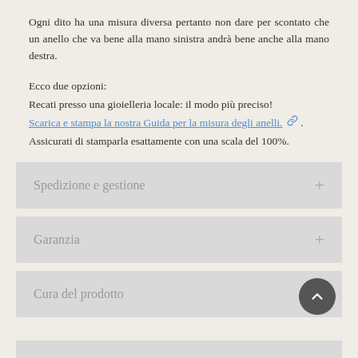Ogni dito ha una misura diversa pertanto non dare per scontato che un anello che va bene alla mano sinistra andrà bene anche alla mano destra.
Ecco due opzioni:
Recati presso una gioielleria locale: il modo più preciso!
Scarica e stampa la nostra Guida per la misura degli anelli. 🔗 .
Assicurati di stamparla esattamente con una scala del 100%.
Spedizione e gestione
Garanzia
Cura del prodotto